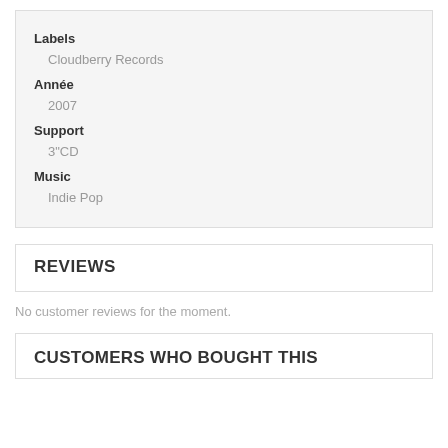Labels
Cloudberry Records
Année
2007
Support
3"CD
Music
Indie Pop
REVIEWS
No customer reviews for the moment.
CUSTOMERS WHO BOUGHT THIS